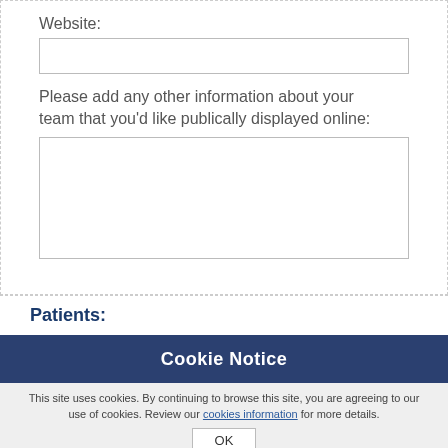Website:
Please add any other information about your team that you'd like publically displayed online:
Patients:
Cookie Notice
This site uses cookies. By continuing to browse this site, you are agreeing to our use of cookies. Review our cookies information for more details.
OK